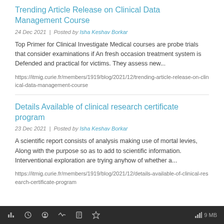Trending Article Release on Clinical Data Management Course
24 Dec 2021  |  Posted by Isha Keshav Borkar
Top Primer for Clinical Investigate Medical courses are probe trials that consider examinations if An fresh occasion treatment system is Defended and practical for victims. They assess new...
https://itmig.curie.fr/members/1919/blog/2021/12/trending-article-release-on-clinical-data-management-course
Details Available of clinical research certificate program
23 Dec 2021  |  Posted by Isha Keshav Borkar
A scientific report consists of analysis making use of mortal levies, Along with the purpose so as to add to scientific information. Interventional exploration are trying anyhow of whether a...
https://itmig.curie.fr/members/1919/blog/2021/12/details-available-of-clinical-research-certificate-program
9 MB